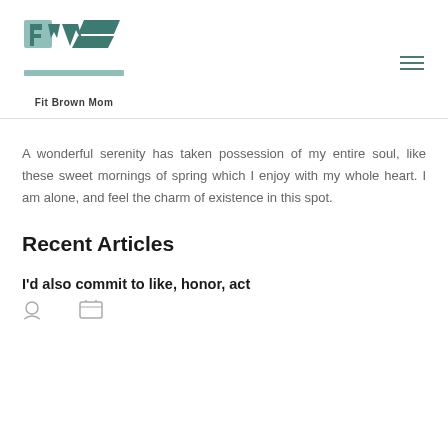[Figure (logo): Fit Brown Mom logo — stylized geometric FW letters in teal/dark teal, with horizontal bar and 'Fit Brown Mom' text below]
A wonderful serenity has taken possession of my entire soul, like these sweet mornings of spring which I enjoy with my whole heart. I am alone, and feel the charm of existence in this spot.
Recent Articles
I'd also commit to like, honor, act